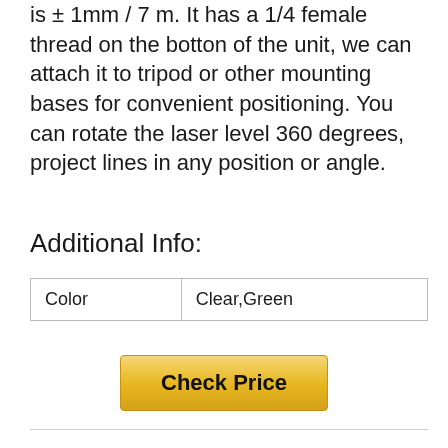is ± 1mm / 7 m. It has a 1/4 female thread on the botton of the unit, we can attach it to tripod or other mounting bases for convenient positioning. You can rotate the laser level 360 degrees, project lines in any position or angle.
Additional Info:
| Color | Clear,Green |
Check Price